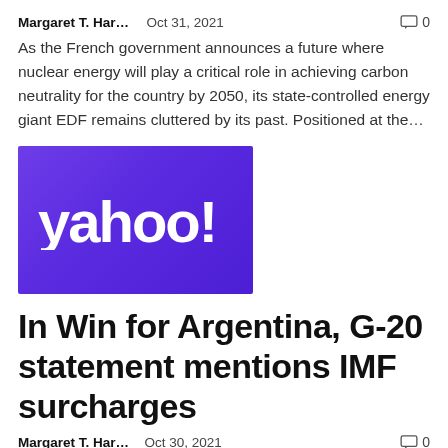Margaret T. Har...   Oct 31, 2021   0
As the French government announces a future where nuclear energy will play a critical role in achieving carbon neutrality for the country by 2050, its state-controlled energy giant EDF remains cluttered by its past. Positioned at the...
[Figure (logo): Yahoo! logo on purple gradient background]
In Win for Argentina, G-20 statement mentions IMF surcharges
Margaret T. Har...   Oct 30, 2021   0